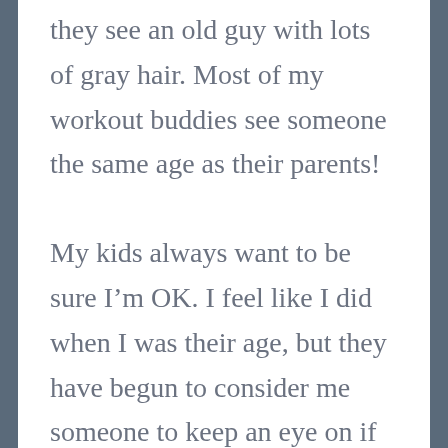they see an old guy with lots of gray hair. Most of my workout buddies see someone the same age as their parents!
My kids always want to be sure I'm OK. I feel like I did when I was their age, but they have begun to consider me someone to keep an eye on if I'm alone or driving late at night or on a ladder doing some painting. I